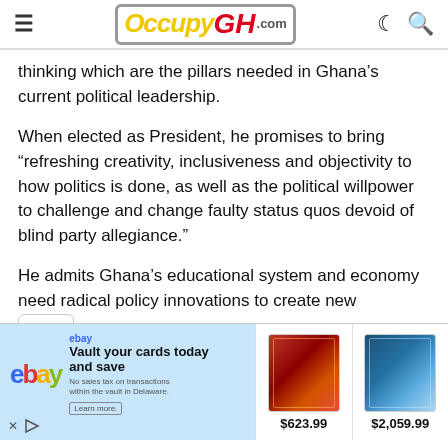OccupyGH.com
thinking which are the pillars needed in Ghana's current political leadership.
When elected as President, he promises to bring “refreshing creativity, inclusiveness and objectivity to how politics is done, as well as the political willpower to challenge and change faulty status quos devoid of blind party allegiance.”
He admits Ghana’s educational system and economy need radical policy innovations to create new opportunities by releasing the full potential of the
[Figure (screenshot): eBay advertisement banner showing eBay logo, vault card storage promotion with text 'Vault your cards today and save', and two Pokemon trading cards priced at $623.99 and $2,059.99]